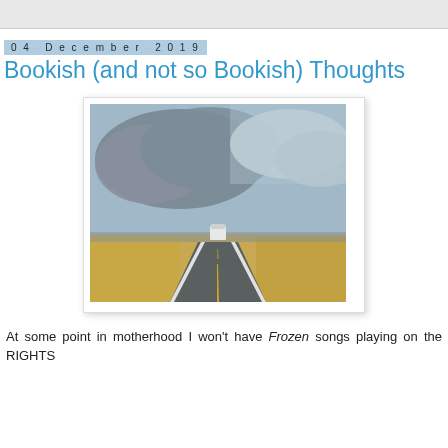04 December 2019
Bookish (and not so Bookish) Thoughts
[Figure (photo): View from inside a car on a straight highway through flat open plains with golden/brown fields on both sides. A white truck or RV is visible ahead on the road. The sky is dramatic with large clouds, partly blue and partly covered with dark grey storm clouds.]
At some point in motherhood I won't have Frozen songs playing on the RIGHTS